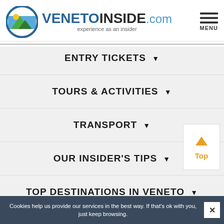VENETOINSIDE.com — experience as an insider
ENTRY TICKETS
TOURS & ACTIVITIES
TRANSPORT
OUR INSIDER'S TIPS
TOP DESTINATIONS IN VENETO
Cookies help us provide our services in the best way. If that's ok with you, just keep browsing.